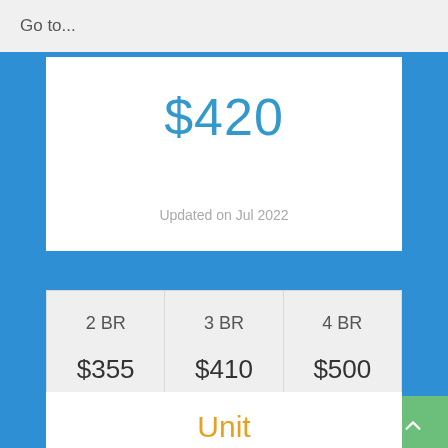Go to...
$420
Updated on Jul 2022
| 2 BR | 3 BR | 4 BR |
| --- | --- | --- |
| $355 | $410 | $500 |
Unit